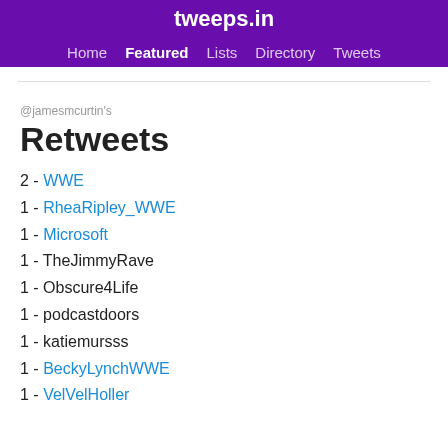tweeps.in
Home  Featured  Lists  Directory  Tweets
@jamesmcurtin's
Retweets
2 - WWE
1 - RheaRipley_WWE
1 - Microsoft
1 - TheJimmyRave
1 - Obscure4Life
1 - podcastdoors
1 - katiemursss
1 - BeckyLynchWWE
1 - VelVelHoller